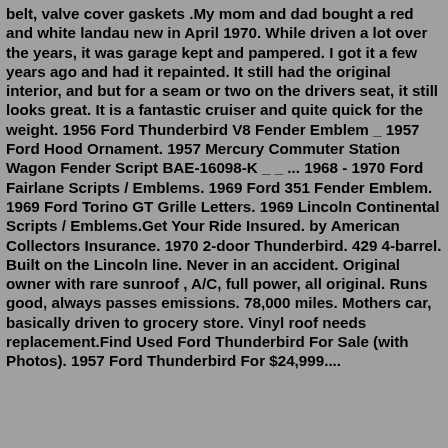belt, valve cover gaskets .My mom and dad bought a red and white landau new in April 1970. While driven a lot over the years, it was garage kept and pampered. I got it a few years ago and had it repainted. It still had the original interior, and but for a seam or two on the drivers seat, it still looks great. It is a fantastic cruiser and quite quick for the weight. 1956 Ford Thunderbird V8 Fender Emblem _ 1957 Ford Hood Ornament. 1957 Mercury Commuter Station Wagon Fender Script BAE-16098-K _ _ ... 1968 - 1970 Ford Fairlane Scripts / Emblems. 1969 Ford 351 Fender Emblem. 1969 Ford Torino GT Grille Letters. 1969 Lincoln Continental Scripts / Emblems.Get Your Ride Insured. by American Collectors Insurance. 1970 2-door Thunderbird. 429 4-barrel. Built on the Lincoln line. Never in an accident. Original owner with rare sunroof , A/C, full power, all original. Runs good, always passes emissions. 78,000 miles. Mothers car, basically driven to grocery store. Vinyl roof needs replacement.Find Used Ford Thunderbird For Sale (with Photos). 1957 Ford Thunderbird For $24,999....